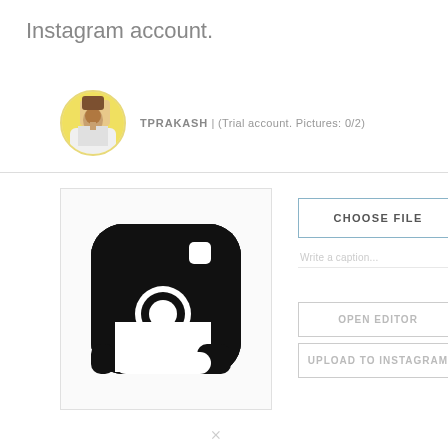Instagram account.
[Figure (photo): User profile avatar showing a person in a yellow-bordered circular frame]
TPRAKASH  |  (Trial account. Pictures: 0/2)
[Figure (logo): Instagram camera logo icon in black and white inside a bordered box]
CHOOSE FILE
Write a caption...
OPEN EDITOR
UPLOAD TO INSTAGRAM